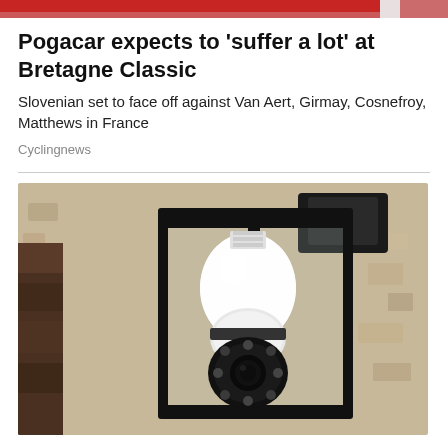[Figure (photo): Partial top banner image showing cyclists in red/pink jerseys, cropped at top of page]
Pogacar expects to 'suffer a lot' at Bretagne Classic
Slovenian set to face off against Van Aert, Girmay, Cosnefroy, Matthews in France
Cyclingnews
[Figure (photo): Advertisement photo showing a security camera disguised as a light bulb inside a black lantern-style outdoor wall light fixture mounted on a textured stone/stucco wall]